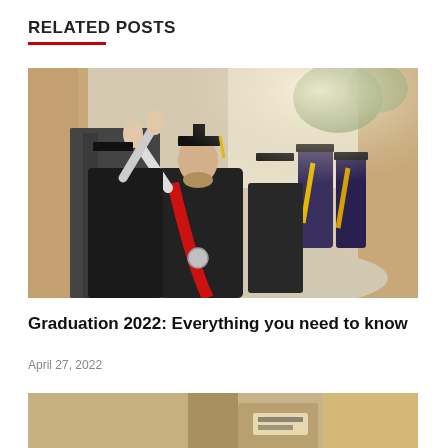RELATED POSTS
[Figure (photo): Graduation procession with graduates in black gowns and mortarboards raising their fists/hands, the central figure wearing a red hood and medal, walking between stone buildings on a sunny day.]
Graduation 2022: Everything you need to know
April 27, 2022
[Figure (photo): Partial view of a second related post image, showing the bottom portion of a photo cut off at the page edge.]